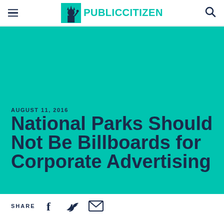PUBLIC CITIZEN
[Figure (logo): Public Citizen logo with Statue of Liberty icon and teal PUBLICCITIZEN text]
AUGUST 11, 2016
National Parks Should Not Be Billboards for Corporate Advertising
SHARE